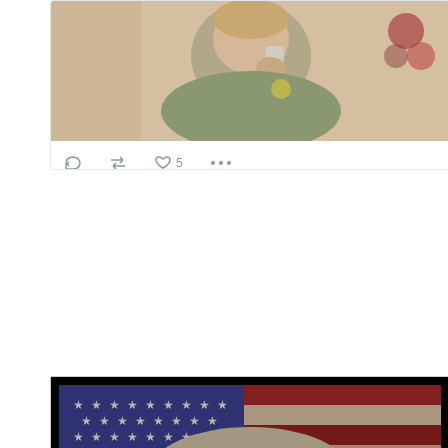[Figure (screenshot): Screenshot of a Twitter/social media post showing a photo of a woman talking on a phone, with a beige/warm colored background. Below the photo are social media action icons: reply, retweet, heart with count '5', and more options (...).]
[Figure (photo): Political composite image with a black border/background showing a close-up portrait of an older woman's face overlaid on an American flag background. The flag shows blue field with stars on the left and red and white stripes on the right. The image has a vintage, distressed look.]